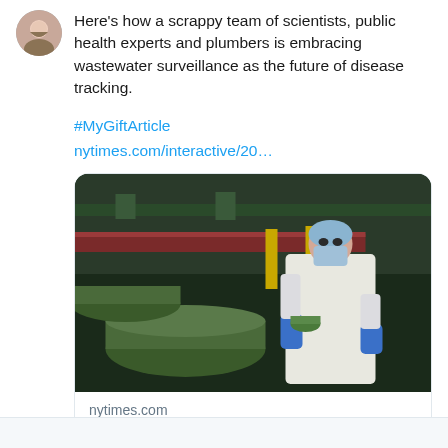Here's how a scrappy team of scientists, public health experts and plumbers is embracing wastewater surveillance as the future of disease tracking.
#MyGiftArticle
nytimes.com/interactive/20…
[Figure (photo): A scientist in white lab coat, blue gloves, face mask, and hair net working on large green industrial pipes in a sewer or water treatment facility]
nytimes.com
Wastewater Disease Tracking: A Photographic Journey From the Se…
2 comments, 114 likes